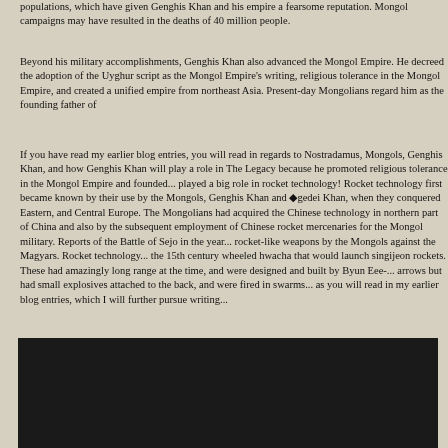populations, which have given Genghis Khan and his empire a fearsome reputation. Mongol campaigns may have resulted in the deaths of 40 million people.
Beyond his military accomplishments, Genghis Khan also advanced the Mongol Empire. He decreed the adoption of the Uyghur script as the Mongol Empire's writing, religious tolerance in the Mongol Empire, and created a unified empire from northeast Asia. Present-day Mongolians regard him as the founding father of
If you have read my earlier blog entries, you will read in regards to Nostradamus, Mongols, Genghis Khan, and how Genghis Khan will play a role in The Legacy because he promoted religious tolerance in the Mongol Empire and founded... played a big role in rocket technology! Rocket technology first became known by their use by the Mongols, Genghis Khan and �gedei Khan, when they conquered Eastern, and Central Europe. The Mongolians had acquired the Chinese technology in northern part of China and also by the subsequent employment of Chinese rocket mercenaries for the Mongol military. Reports of the Battle of Sejo in the year... rocket-like weapons by the Mongols against the Magyars. Rocket technology... the 15th century wheeled hwacha that would launch singijeon rockets. These had amazingly long range at the time, and were designed and built by Byun Eee-... arrows but had small explosives attached to the back, and were fired in swarms... as you will read in my earlier blog entries, which I will further pursue writing...
[Figure (photo): A dark/black image region at the bottom of the page, likely an embedded photo or video thumbnail that is mostly black.]